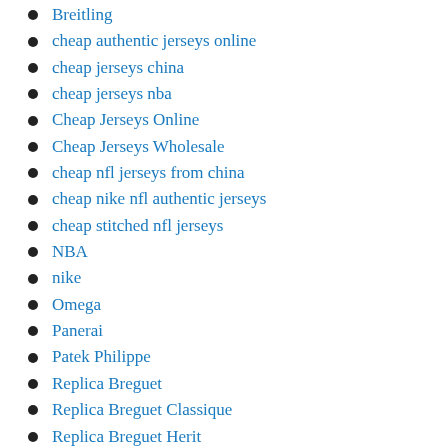Breitling
cheap authentic jerseys online
cheap jerseys china
cheap jerseys nba
Cheap Jerseys Online
Cheap Jerseys Wholesale
cheap nfl jerseys from china
cheap nike nfl authentic jerseys
cheap stitched nfl jerseys
NBA
nike
Omega
Panerai
Patek Philippe
Replica Breguet
Replica Breguet Classique
Replica Breguet Herit…